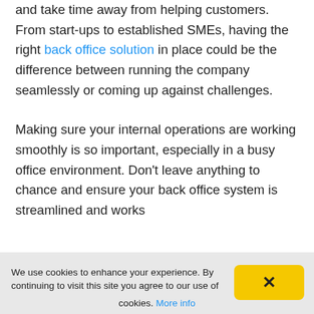and take time away from helping customers. From start-ups to established SMEs, having the right back office solution in place could be the difference between running the company seamlessly or coming up against challenges.

Making sure your internal operations are working smoothly is so important, especially in a busy office environment. Don't leave anything to chance and ensure your back office system is streamlined and works
We use cookies to enhance your experience. By continuing to visit this site you agree to our use of cookies. More info